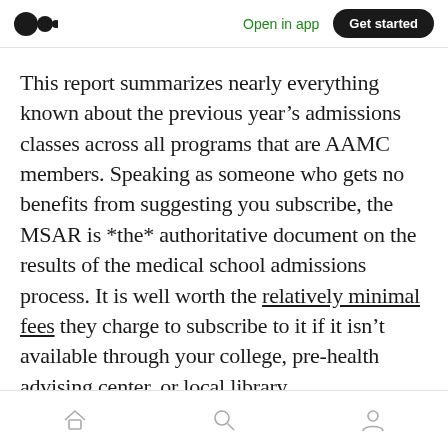Open in app | Get started
This report summarizes nearly everything known about the previous year's admissions classes across all programs that are AAMC members. Speaking as someone who gets no benefits from suggesting you subscribe, the MSAR is *the* authoritative document on the results of the medical school admissions process. It is well worth the relatively minimal fees they charge to subscribe to it if it isn't available through your college, pre-health advising center, or local library.
Home | Search | Profile